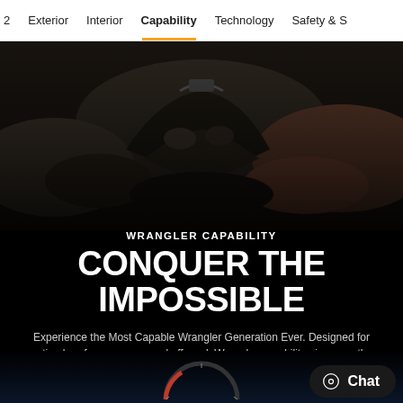2  Exterior  Interior  Capability  Technology  Safety & S
[Figure (photo): Close-up of rocky terrain and large boulders, dark and dramatic off-road scene]
WRANGLER CAPABILITY
CONQUER THE IMPOSSIBLE
Experience the Most Capable Wrangler Generation Ever. Designed for optimal performance on- and off-road, Wrangler capability gives you the power to explore where other vehicles wouldn't dream to go.